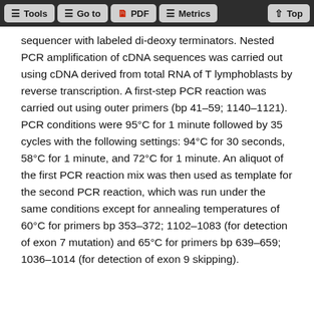Tools | Go to | PDF | Metrics | Top
sequencer with labeled di-deoxy terminators. Nested PCR amplification of cDNA sequences was carried out using cDNA derived from total RNA of T lymphoblasts by reverse transcription. A first-step PCR reaction was carried out using outer primers (bp 41–59; 1140–1121). PCR conditions were 95°C for 1 minute followed by 35 cycles with the following settings: 94°C for 30 seconds, 58°C for 1 minute, and 72°C for 1 minute. An aliquot of the first PCR reaction mix was then used as template for the second PCR reaction, which was run under the same conditions except for annealing temperatures of 60°C for primers bp 353–372; 1102–1083 (for detection of exon 7 mutation) and 65°C for primers bp 639–659; 1036–1014 (for detection of exon 9 skipping).